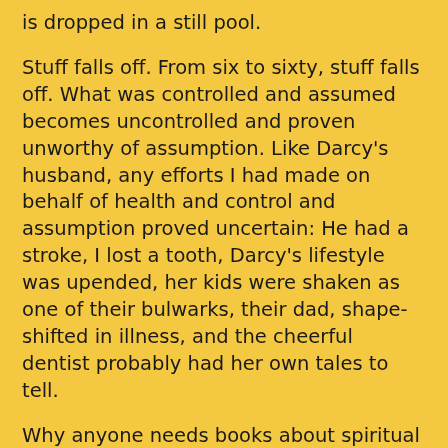is dropped in a still pool.
Stuff falls off. From six to sixty, stuff falls off. What was controlled and assumed becomes uncontrolled and proven unworthy of assumption. Like Darcy's husband, any efforts I had made on behalf of health and control and assumption proved uncertain: He had a stroke, I lost a tooth, Darcy's lifestyle was upended, her kids were shaken as one of their bulwarks, their dad, shape-shifted in illness, and the cheerful dentist probably had her own tales to tell.
Why anyone needs books about spiritual endeavor sometimes beats the hell out of me when a little attention makes things perfectly clear. It was just a trip to the dentist, after all, and, however much I may dislike such trips, it wasn't anything extraordinary. Stuff falls off ... things change ... and perhaps the spiritual endeavor pointers are good for something if they can point out that stuff does indeed fall off and here's something you can do about it.
Only of course there is not a goddamned thing you can do about it in the sense that control and assumptions simply do